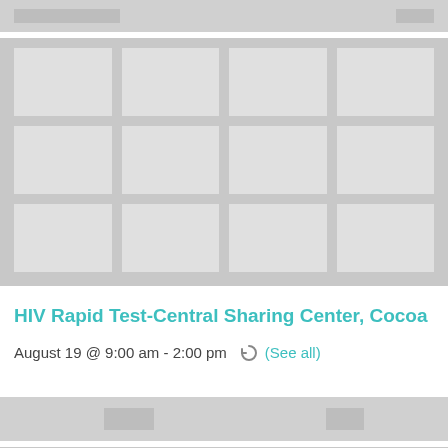[Figure (screenshot): Calendar grid placeholder image with gray cells arranged in rows and columns, showing a partial month view at the top of the page]
HIV Rapid Test-Central Sharing Center, Cocoa
August 19 @ 9:00 am - 2:00 pm  (See all)
[Figure (screenshot): Partial calendar grid placeholder image at the bottom of the page, showing gray rows and cells]